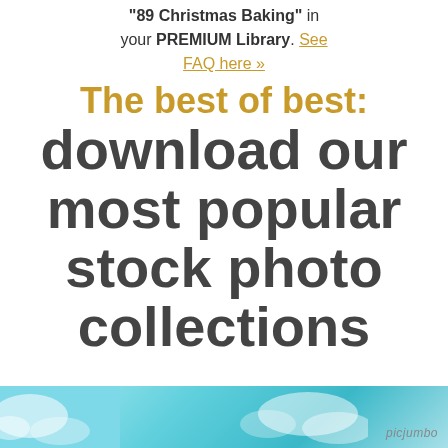"89 Christmas Baking" in your PREMIUM Library. See FAQ here »
The best of best: download our most popular stock photo collections
[Figure (photo): A partial photo strip at the bottom showing a sky/clouds image with a 'picjumbo' watermark in the lower right.]